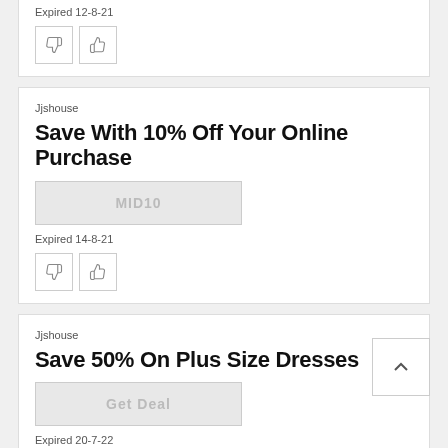Expired 12-8-21
Jjshouse
Save With 10% Off Your Online Purchase
MID10
Expired 14-8-21
Jjshouse
Save 50% On Plus Size Dresses
Get Deal
Expired 20-7-22